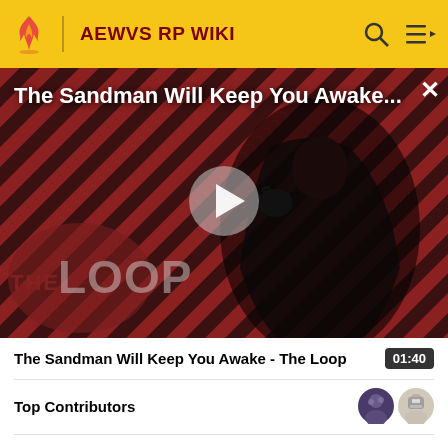AEWVS RP WIKI
[Figure (screenshot): Video thumbnail showing a figure in black cloak against a red and black diagonal stripe background with THE LOOP logo overlay. Title overlay reads 'The Sandman Will Keep You Awake...' with a play button in the center.]
The Sandman Will Keep You Awake - The Loop  01:40
Top Contributors
Comments (0)